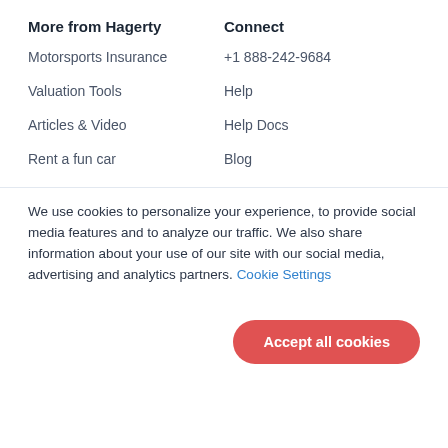More from Hagerty
Connect
Motorsports Insurance
+1 888-242-9684
Valuation Tools
Help
Articles & Video
Help Docs
Rent a fun car
Blog
We use cookies to personalize your experience, to provide social media features and to analyze our traffic. We also share information about your use of our site with our social media, advertising and analytics partners. Cookie Settings
Accept all cookies